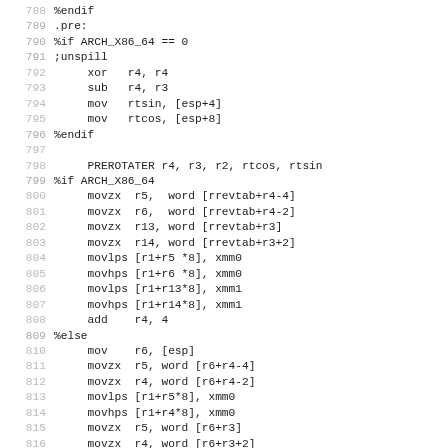Assembly source code lines 788–819 showing PREROTATER macro call and conditional movzx/movlps/movhps instructions for x86 and x86-64 architectures.